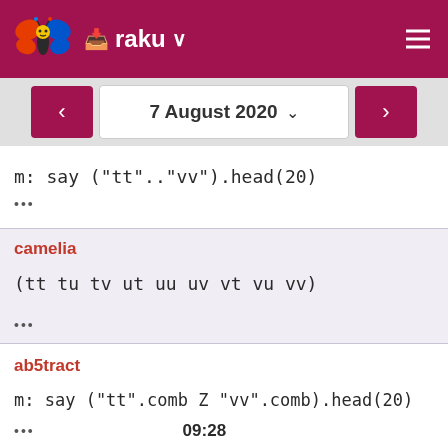raku
7 August 2020
m: say ("tt".."vv").head(20)
•••
camelia
(tt tu tv ut uu uv vt vu vv)
•••
ab5tract
m: say ("tt".comb Z "vv".comb).head(20)
••• 09:28
camelia